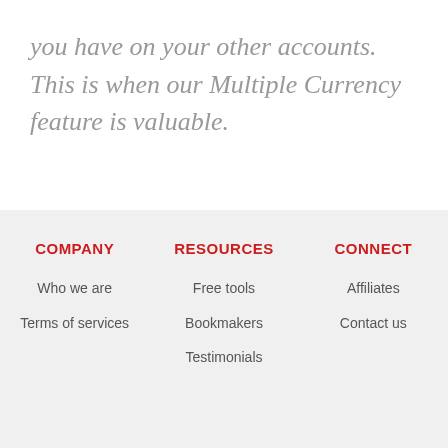you have on your other accounts. This is when our Multiple Currency feature is valuable.
COMPANY | RESOURCES | CONNECT | Who we are | Terms of services | Free tools | Bookmakers | Testimonials | Affiliates | Contact us